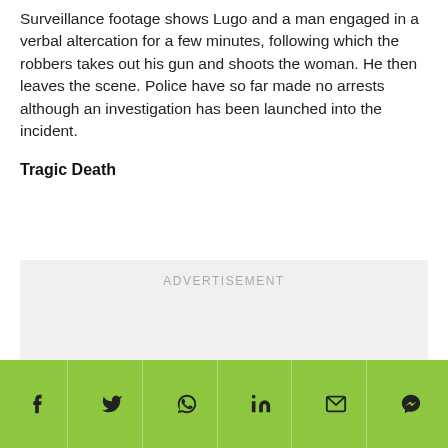Surveillance footage shows Lugo and a man engaged in a verbal altercation for a few minutes, following which the robbers takes out his gun and shoots the woman. He then leaves the scene. Police have so far made no arrests although an investigation has been launched into the incident.
Tragic Death
[Figure (other): Advertisement placeholder box with light gray background and 'ADVERTISEMENT' text in light gray uppercase letters]
Social share bar with Facebook, Twitter, WhatsApp, LinkedIn, Email, and Messenger icons on a green background